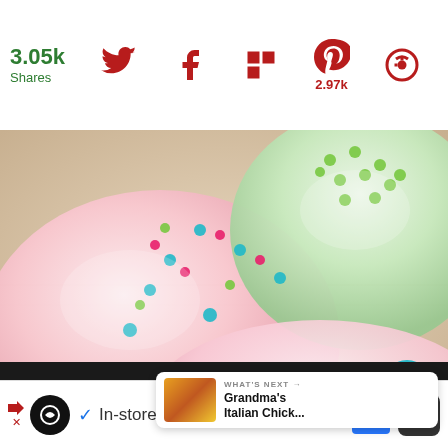3.05k Shares
[Figure (photo): Close-up photo of frosted cupcakes/donuts with colorful sprinkle balls (pink, teal, green) on pink and white/green icing]
53
WHAT'S NEXT → Grandma's Italian Chick...
In-store shopping